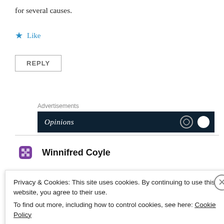for several causes.
Like
REPLY
Advertisements
[Figure (screenshot): Dark blue advertisement banner showing 'Opinions' text with navigation icons]
Winnifred Coyle
Privacy & Cookies: This site uses cookies. By continuing to use this website, you agree to their use.
To find out more, including how to control cookies, see here: Cookie Policy
Close and accept